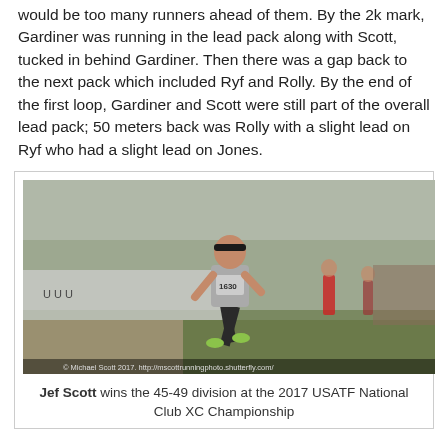would be too many runners ahead of them. By the 2k mark, Gardiner was running in the lead pack along with Scott, tucked in behind Gardiner. Then there was a gap back to the next pack which included Ryf and Rolly. By the end of the first loop, Gardiner and Scott were still part of the overall lead pack; 50 meters back was Rolly with a slight lead on Ryf who had a slight lead on Jones.
[Figure (photo): A male runner wearing bib number 1630 and a gray singlet runs through a cross country course with spectators and other runners in the background. Photo credit: Michael Scott 2017, http://mscottrunningphoto.shutterfly.com/]
Jef Scott wins the 45-49 division at the 2017 USATF National Club XC Championship
Then it was a similar gap back to Mullane and Frieder, who was not faring as well as he had in several break out road